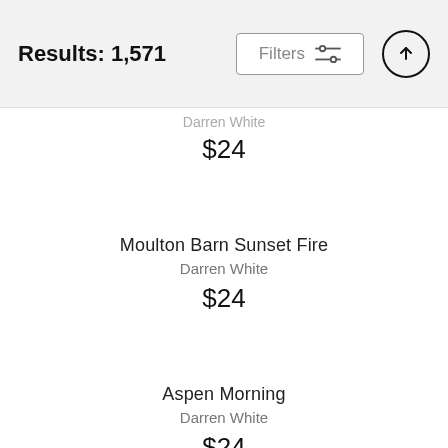Results: 1,571 | Filters
Darren White
$24
Moulton Barn Sunset Fire
Darren White
$24
Aspen Morning
Darren White
$24